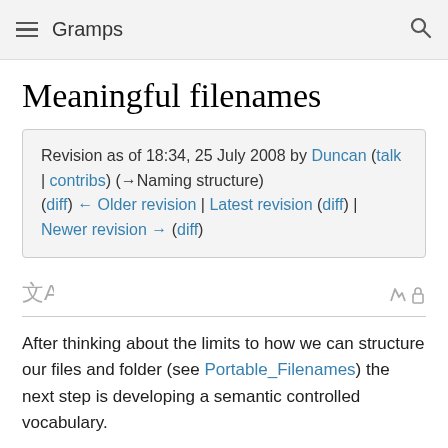Gramps
Meaningful filenames
Revision as of 18:34, 25 July 2008 by Duncan (talk | contribs) (→Naming structure)
(diff) ← Older revision | Latest revision (diff) | Newer revision → (diff)
After thinking about the limits to how we can structure our files and folder (see Portable_Filenames) the next step is developing a semantic controlled vocabulary.
Before launching too deep into this lets look at what we want to achieve.